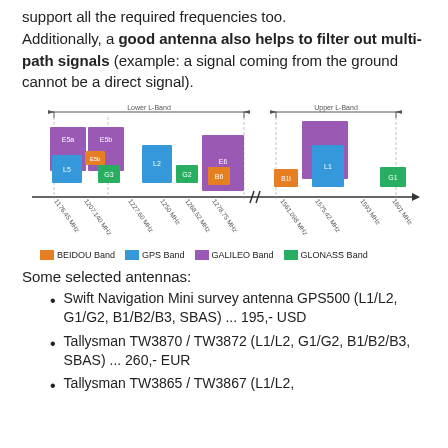support all the required frequencies too. Additionally, a good antenna also helps to filter out multi-path signals (example: a signal coming from the ground cannot be a direct signal).
[Figure (infographic): Frequency band diagram showing Lower L-Band and Upper L-Band ranges with labeled signal bands for BEIDOU (orange), GPS (blue), GALILEO (purple), and GLONASS (green). Shows bands E5a, E5b, L5, E5b, G3, L2, G2, E6, E1, L1, B1l, G1 at various frequencies including 1176.45 MHz, 1207.140 MHz, 1227.60 MHz, 1250 MHz, 1268.52 MHz, 1278.75 MHz, 1561.098 MHz, 1575.42 MHz, 1593 MHz, 1601 MHz.]
Some selected antennas:
Swift Navigation Mini survey antenna GPS500 (L1/L2, G1/G2, B1/B2/B3, SBAS) ... 195,- USD
Tallysman TW3870 / TW3872 (L1/L2, G1/G2, B1/B2/B3, SBAS) ... 260,- EUR
Tallysman TW3865 / TW3867 (L1/L2,